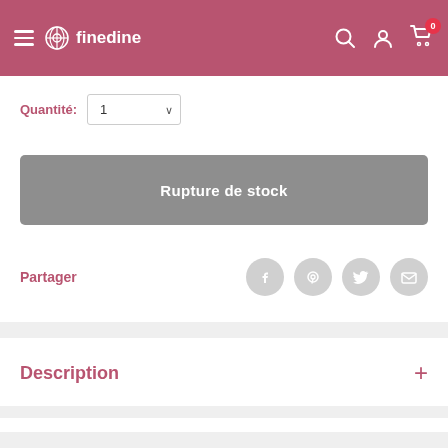finedine
Quantité: 1
Rupture de stock
Partager
Description